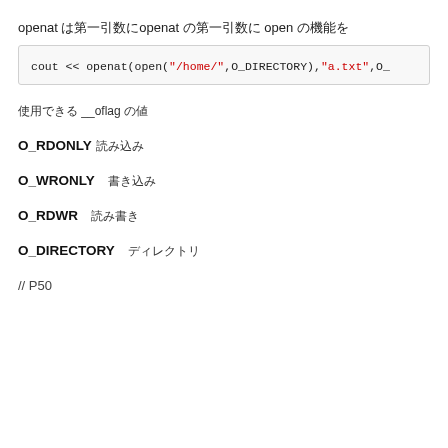openat は第一引数にopenat の第一引数に open の機能を
[Figure (screenshot): Code block showing: cout << openat(open("/home/",O_DIRECTORY),"a.txt",O_]
使用できる __oflag の値
O_RDONLY 読み込み
O_WRONLY   書き込み
O_RDWR   読み書き
O_DIRECTORY   ディレクトリ
// P50